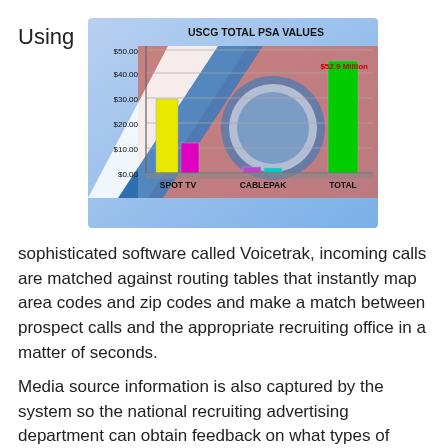Using
[Figure (bar-chart): USCG TOTAL PSA VALUES]
sophisticated software called Voicetrak, incoming calls are matched against routing tables that instantly map area codes and zip codes and make a match between prospect calls and the appropriate recruiting office in a matter of seconds.
Media source information is also captured by the system so the national recruiting advertising department can obtain feedback on what types of media are generating recruiting leads and the leads are then instantly transmitted to the appropriate recruiter